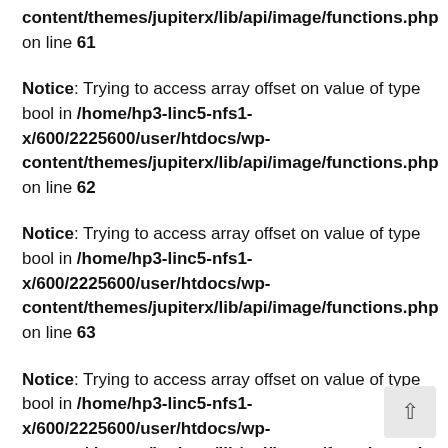content/themes/jupiterx/lib/api/image/functions.php on line 61
Notice: Trying to access array offset on value of type bool in /home/hp3-linc5-nfs1-x/600/2225600/user/htdocs/wp-content/themes/jupiterx/lib/api/image/functions.php on line 62
Notice: Trying to access array offset on value of type bool in /home/hp3-linc5-nfs1-x/600/2225600/user/htdocs/wp-content/themes/jupiterx/lib/api/image/functions.php on line 63
Notice: Trying to access array offset on value of type bool in /home/hp3-linc5-nfs1-x/600/2225600/user/htdocs/wp-content/themes/jupiterx/lib/api/image/functions.php on